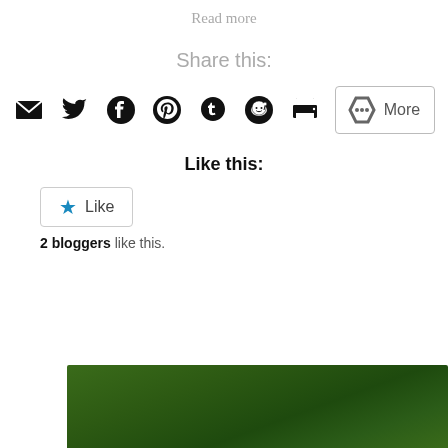Read more
Share this:
[Figure (infographic): Social share icons: email, Twitter, Facebook, Pinterest, Tumblr, Reddit, Print, and a More button]
Like this:
[Figure (infographic): Like button widget with blue star icon and Like text]
2 bloggers like this.
[Figure (photo): Green blurred nature/grass image at bottom of page]